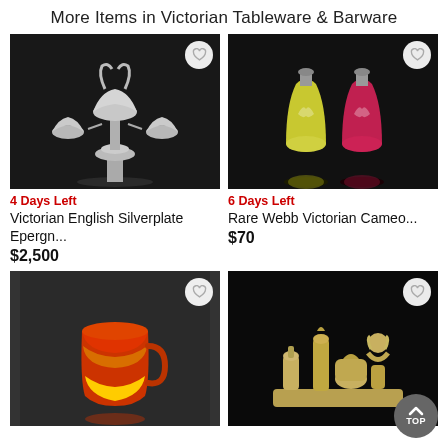More Items in Victorian Tableware & Barware
[Figure (photo): Victorian English silverplate epergne centerpiece on black background]
4 Days Left
Victorian English Silverplate Epergn...
$2,500
[Figure (photo): Two decorative glass cameo bottles (yellow and pink/red) with silver lids on black background]
6 Days Left
Rare Webb Victorian Cameo...
$70
[Figure (photo): Red and yellow ombre ceramic cup/mug on dark background]
[Figure (photo): Victorian silverplate condiment set with figural cherub on black background]